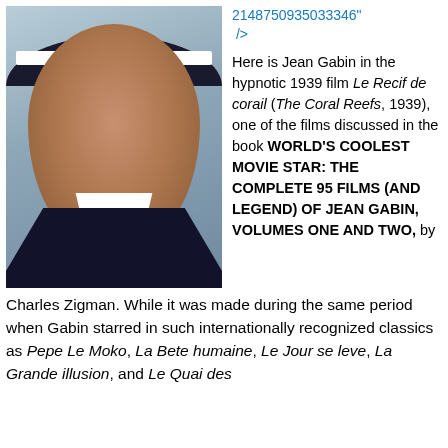[Figure (photo): Color photo of Jean Gabin in a white naval/captain's cap and dark suit with white collar, looking stern, from the 1939 film Le Recif de corail.]
2148750935033346" />
Here is Jean Gabin in the hypnotic 1939 film Le Recif de corail (The Coral Reefs, 1939), one of the films discussed in the book WORLD'S COOLEST MOVIE STAR: THE COMPLETE 95 FILMS (AND LEGEND) OF JEAN GABIN, VOLUMES ONE AND TWO, by Charles Zigman. While it was made during the same period when Gabin starred in such internationally recognized classics as Pepe Le Moko, La Bete humaine, Le Jour se leve, La Grande illusion, and Le Quai des